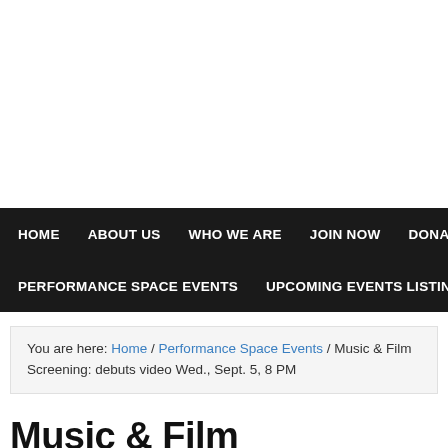HOME  ABOUT US  WHO WE ARE  JOIN NOW  DONATE!  BEST VIDE  PERFORMANCE SPACE EVENTS  UPCOMING EVENTS LISTINGS  NEW REL
You are here: Home / Performance Space Events / Music & Film Screening: debuts video Wed., Sept. 5, 8 PM
Music & Film Screening: Dagwood